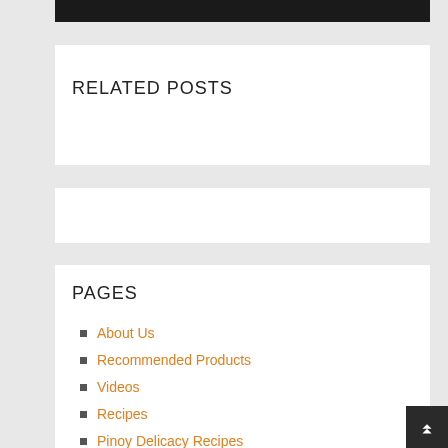[Figure (other): Black navigation bar at top]
RELATED POSTS
PAGES
About Us
Recommended Products
Videos
Recipes
Pinoy Delicacy Recipes